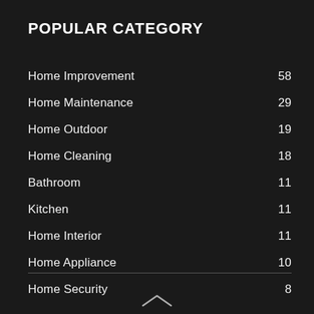POPULAR CATEGORY
Home Improvement 58
Home Maintenance 29
Home Outdoor 19
Home Cleaning 18
Bathroom 11
Kitchen 11
Home Interior 11
Home Appliance 10
Home Security 8